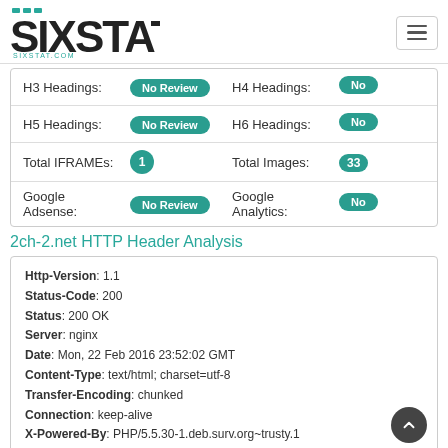SIXSTAT SIXSTAT.COM
| Field | Value | Field | Value |
| --- | --- | --- | --- |
| H3 Headings: | No Review | H4 Headings: | No |
| H5 Headings: | No Review | H6 Headings: | No |
| Total IFRAMEs: | 1 | Total Images: | 33 |
| Google Adsense: | No Review | Google Analytics: | No |
2ch-2.net HTTP Header Analysis
Http-Version: 1.1
Status-Code: 200
Status: 200 OK
Server: nginx
Date: Mon, 22 Feb 2016 23:52:02 GMT
Content-Type: text/html; charset=utf-8
Transfer-Encoding: chunked
Connection: keep-alive
X-Powered-By: PHP/5.5.30-1.deb.surv.org~trusty.1